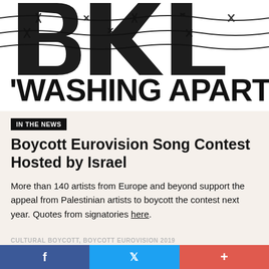[Figure (illustration): Black and white graffiti-style graphic showing large bold letters and barbed wire. Partial text visible reads 'WASHING APART' in large stencil letters at the bottom of the image area.]
IN THE NEWS
Boycott Eurovision Song Contest Hosted by Israel
More than 140 artists from Europe and beyond support the appeal from Palestinian artists to boycott the contest next year. Quotes from signatories here.
CULTURAL BOYCOTT, BOYCOTT EUROVISION 2019